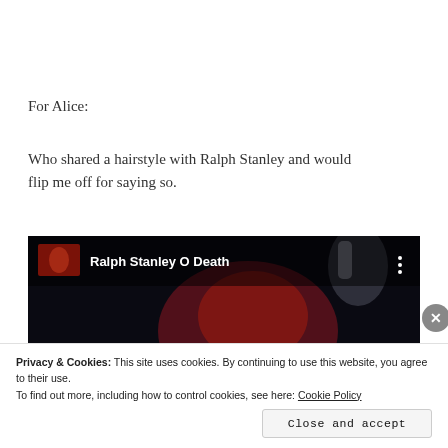For Alice:
Who shared a hairstyle with Ralph Stanley and would flip me off for saying so.
[Figure (screenshot): YouTube video thumbnail showing 'Ralph Stanley O Death' with a dark background, a small red-tinted thumbnail image on the left, white bold title text, and a blurred figure in the background.]
Privacy & Cookies: This site uses cookies. By continuing to use this website, you agree to their use.
To find out more, including how to control cookies, see here: Cookie Policy
Close and accept